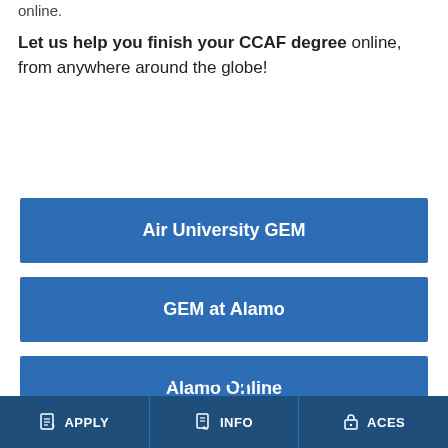online.
Let us help you finish your CCAF degree online, from anywhere around the globe!
Air University GEM
GEM at Alamo
Alamo Online
MyCAA | Military Spouse Scholarship
APPLY  INFO  ACES